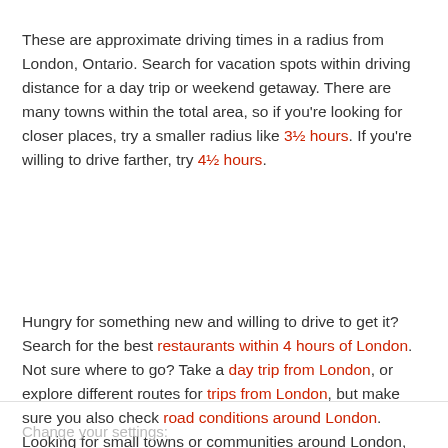These are approximate driving times in a radius from London, Ontario. Search for vacation spots within driving distance for a day trip or weekend getaway. There are many towns within the total area, so if you're looking for closer places, try a smaller radius like 3½ hours. If you're willing to drive farther, try 4½ hours.
Hungry for something new and willing to drive to get it? Search for the best restaurants within 4 hours of London. Not sure where to go? Take a day trip from London, or explore different routes for trips from London, but make sure you also check road conditions around London. Looking for small towns or communities around London, Ontario? Get a full list of up to 500 cities nearby London.
Change your settings: